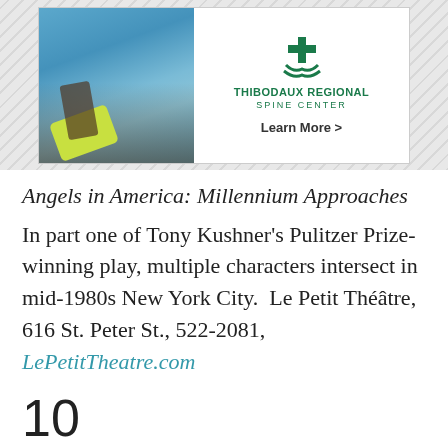[Figure (photo): Advertisement for Thibodaux Regional Spine Center showing a person holding a tennis racket with the clinic's logo and 'Learn More >' text]
Angels in America: Millennium Approaches
In part one of Tony Kushner's Pulitzer Prize-winning play, multiple characters intersect in mid-1980s New York City.  Le Petit Théâtre, 616 St. Peter St., 522-2081, LePetitTheatre.com
10
No Limit Reunion Tour
New Orleans native and iconic rapper Master P...